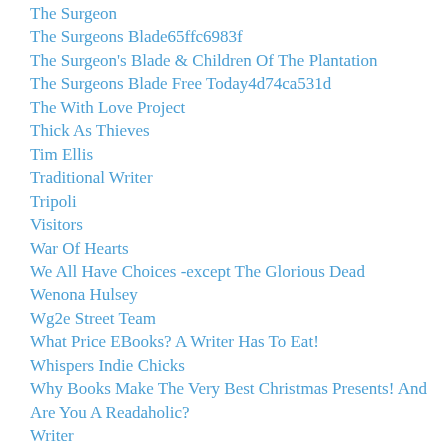The Surgeon
The Surgeons Blade65ffc6983f
The Surgeon's Blade & Children Of The Plantation
The Surgeons Blade Free Today4d74ca531d
The With Love Project
Thick As Thieves
Tim Ellis
Traditional Writer
Tripoli
Visitors
War Of Hearts
We All Have Choices -except The Glorious Dead
Wenona Hulsey
Wg2e Street Team
What Price EBooks? A Writer Has To Eat!
Whispers Indie Chicks
Why Books Make The Very Best Christmas Presents! And Are You A Readaholic?
Writer
Writer And Author Libby Fischer Hellmann
Writers Don't WANT Everyone To Read Their Books